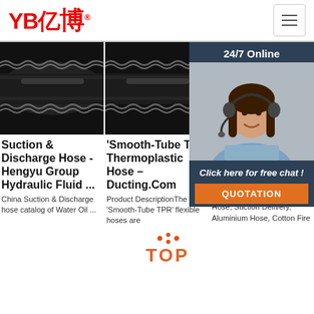YB亿博® [hamburger menu button]
[Figure (photo): Close-up photo of a black rubber suction & discharge hose with braided reinforcement pattern]
[Figure (photo): Close-up photo of a black smooth-tube TPR thermoplastic hose with braided reinforcement]
[Figure (photo): Close-up photo of a black hydraulic hose with braided reinforcement - partially obscured by overlay]
[Figure (photo): 24/7 Online customer service representative - woman with headset smiling. Overlay panel with 'Click here for free chat!' and QUOTATION button]
Suction & Discharge Hose - Hengyu Group Hydraulic Fluid ...
'Smooth-Tube TPR' Thermoplastic Hose – Ducting.Com
Ho... Su... Bangalore
China Suction & Discharge hose catalog of Water Oil ...
Product DescriptionThe 'Smooth-Tube TPR' flexible hoses are
Jain Hydraulis & Pneumatis Hose supplier,PVC Duct Hose, Suction Delivery, Aluminium Hose, Cotton Fire